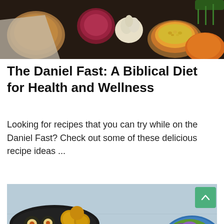[Figure (photo): Top-down food photo showing vegetables including red onions, garlic, spices in bowls on a dark wooden surface.]
The Daniel Fast: A Biblical Diet for Health and Wellness
Looking for recipes that you can try while on the Daniel Fast? Check out some of these delicious recipe ideas ...
[Figure (photo): Overhead photo of Asian-style food dishes including sushi rolls, a bowl of stir-fried vegetables with shrimp and chopsticks, a bowl of rice, and shrimp with lemon slices on a light blue wooden surface.]